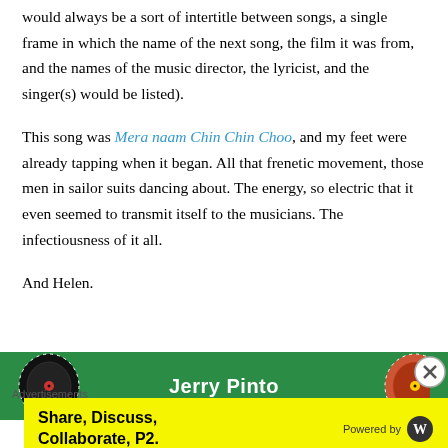would always be a sort of intertitle between songs, a single frame in which the name of the next song, the film it was from, and the names of the music director, the lyricist, and the singer(s) would be listed).
This song was Mera naam Chin Chin Choo, and my feet were already tapping when it began. All that frenetic movement, those men in sailor suits dancing about. The energy, so electric that it even seemed to transmit itself to the musicians. The infectiousness of it all.
And Helen.
[Figure (illustration): Book cover or promotional image with green background showing 'Jerry Pinto' text and vinyl record graphics, partially visible]
Advertisements
Share, Discuss, Collaborate, P2. Powered by WordPress